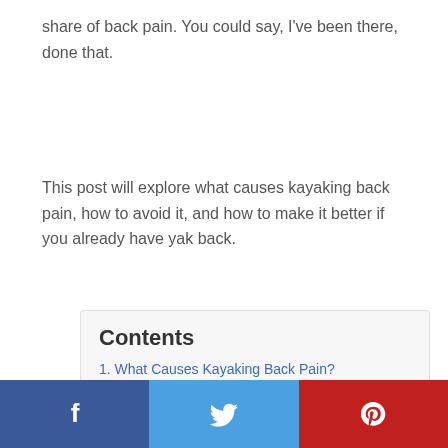share of back pain. You could say, I've been there, done that.
This post will explore what causes kayaking back pain, how to avoid it, and how to make it better if you already have yak back.
Contents
1. What Causes Kayaking Back Pain?
2. 8 ways to treat and prevent kayaking back pain
2.1. Maintain proper posture to protect your lower back
2.2. Use good paddling technique
[Figure (other): Social sharing bar with Facebook, Twitter, and Pinterest buttons]